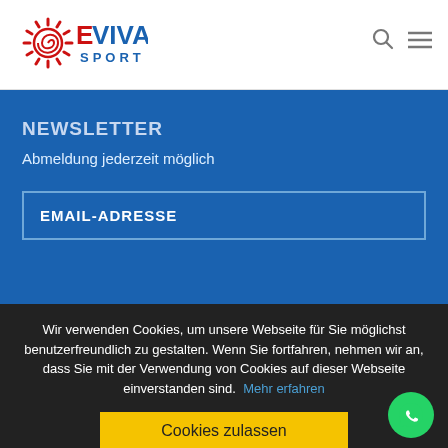[Figure (logo): Eviva Sport logo with red sun/spiral graphic and EVIVA text in red/blue, SPORT in blue below]
NEWSLETTER
Abmeldung jederzeit möglich
EMAIL-ADRESSE
Wir verwenden Cookies, um unsere Webseite für Sie möglichst benutzerfreundlich zu gestalten. Wenn Sie fortfahren, nehmen wir an, dass Sie mit der Verwendung von Cookies auf dieser Webseite einverstanden sind.  Mehr erfahren
Cookies zulassen